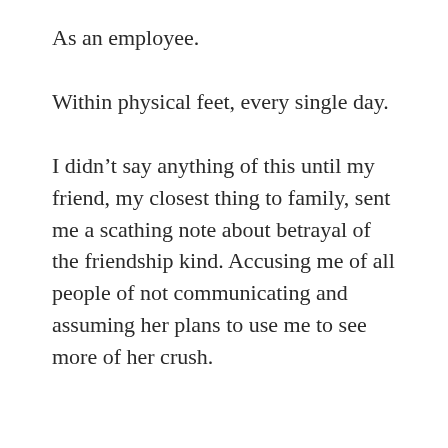As an employee.
Within physical feet, every single day.
I didn't say anything of this until my friend, my closest thing to family, sent me a scathing note about betrayal of the friendship kind. Accusing me of all people of not communicating and assuming her plans to use me to see more of her crush.